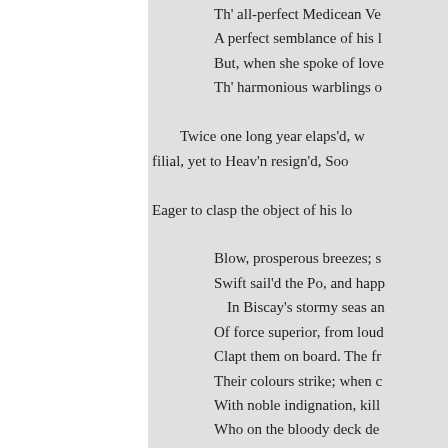Th' all-perfect Medicean Ve...
A perfect semblance of his l...
But, when she spoke of love...
Th' harmonious warblings o...

Twice one long year elaps'd, w...
filial, yet to Heav'n resign'd, Soo...

Eager to clasp the object of his lo...

Blow, prosperous breezes; s...
Swift sail'd the Po, and happ...
In Biscay's stormy seas an...
Of force superior, from loud...
Clapt them on board. The fr...
Their colours strike; when c...
With noble indignation, kill...
Who on the bloody deck de...
The Gauls retreat; the Brito...
And touch'd with shame, wi...
So plied their cannon, plied...
That soon in air the hapless...

Blow, prosperous breezes; swi...